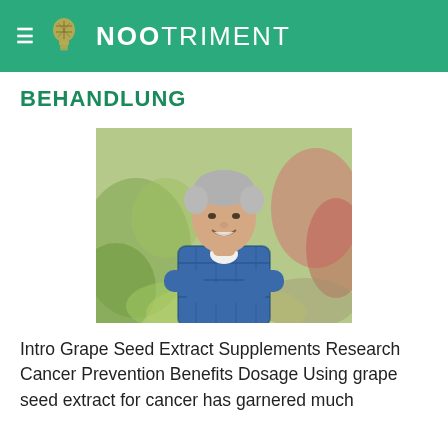≡ NOOTRIMENT
BEHANDLUNG
[Figure (photo): A smiling middle-aged man with grey hair, arms crossed, wearing a blue plaid shirt, standing outdoors with blurred green and pink foliage in the background.]
Intro Grape Seed Extract Supplements Research Cancer Prevention Benefits Dosage Using grape seed extract for cancer has garnered much